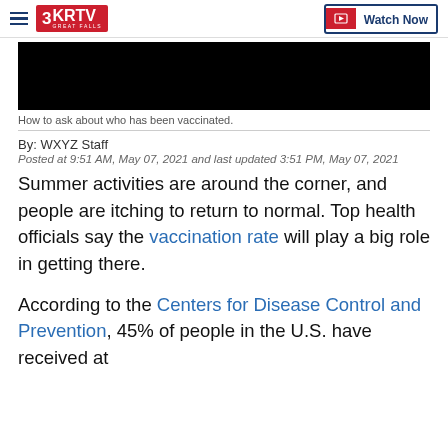3KRTV GREAT FALLS | Watch Now
[Figure (screenshot): Black video player placeholder]
How to ask about who has been vaccinated.
By: WXYZ Staff
Posted at 9:51 AM, May 07, 2021 and last updated 3:51 PM, May 07, 2021
Summer activities are around the corner, and people are itching to return to normal. Top health officials say the vaccination rate will play a big role in getting there.
According to the Centers for Disease Control and Prevention, 45% of people in the U.S. have received at